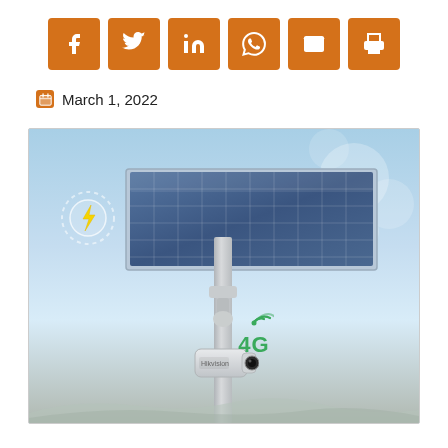[Figure (infographic): Six orange share/social buttons: Facebook, Twitter, LinkedIn, WhatsApp, Email, Print]
March 1, 2022
[Figure (photo): Solar-powered 4G security camera mounted on a pole outdoors against a blue sky, with a solar panel on top and a bullet camera below. A solar/lightning bolt icon appears on the left and a 4G wifi label appears on the right side of the camera.]